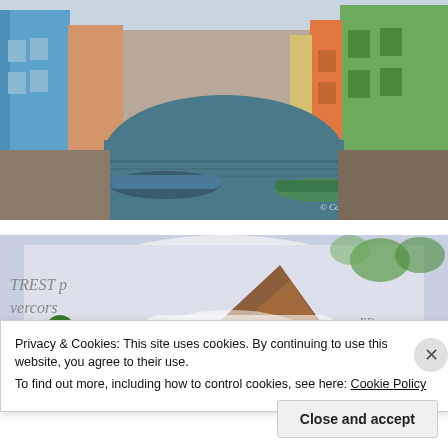[Figure (photo): Colorful houses lining a canal in Burano, Venice, Italy. Bright blue, pink, orange, green, and yellow buildings reflected in the water. Boats moored along the canal. Watermark: © Copyright Pamela Batsha Sharma]
[Figure (photo): Close-up photo of a pastry or food item dusted with powdered sugar on a white plate. Partial text visible on background: 'TREST p', 'vercors', 'Pambles'. Green decorative elements visible.]
Privacy & Cookies: This site uses cookies. By continuing to use this website, you agree to their use.
To find out more, including how to control cookies, see here: Cookie Policy
Close and accept